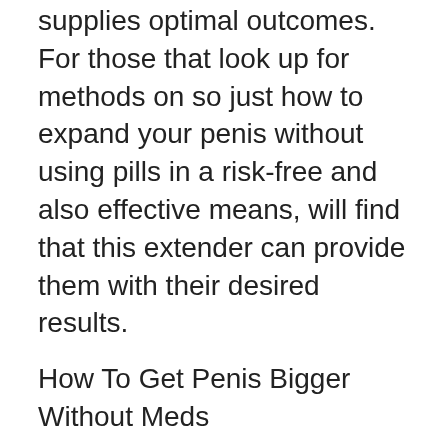supplies optimal outcomes. For those that look up for methods on so just how to expand your penis without using pills in a risk-free and also effective means, will find that this extender can provide them with their desired results.
How To Get Penis Bigger Without Meds
Free delivery: Often, the products are not that expensive than the delivery fees. Now you can obtain a hold over this medical gadget that has proven to give assured results without stressing over the shipping costs. In addition to this the extender assures return back plan, so even if you are reluctant to try it out due to your worry of buying something which can't give you your